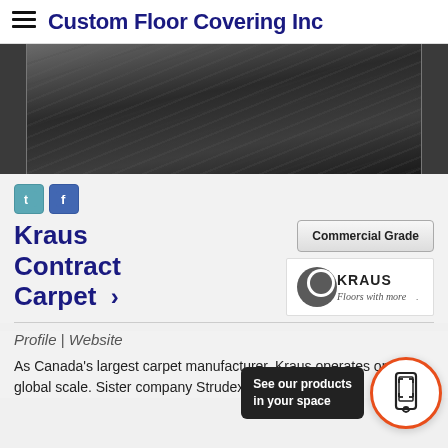Custom Floor Covering Inc
[Figure (photo): Dark wood-look flooring texture, overhead/angled view]
[Figure (logo): Twitter (bird) social icon]
[Figure (logo): Facebook social icon]
Kraus Contract Carpet
[Figure (other): Commercial Grade button]
[Figure (logo): Kraus Floors with more logo]
Profile | Website
As Canada's largest carpet manufacturer, Kraus operates on a global scale. Sister company Strudex Fibres
[Figure (other): AR view button - See our products in your space, circular orange-bordered icon with phone/scan graphic]